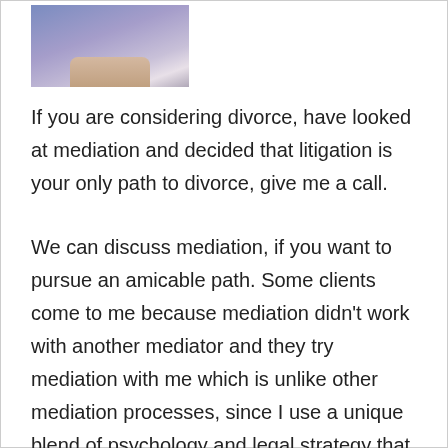[Figure (photo): Partial photo of a person sitting, wearing a blue/purple top, with hands folded in lap, cropped at the top of the page.]
If you are considering divorce, have looked at mediation and decided that litigation is your only path to divorce, give me a call.
We can discuss mediation, if you want to pursue an amicable path. Some clients come to me because mediation didn't work with another mediator and they try mediation with me which is unlike other mediation processes, since I use a unique blend of psychology and legal strategy that is very successful!